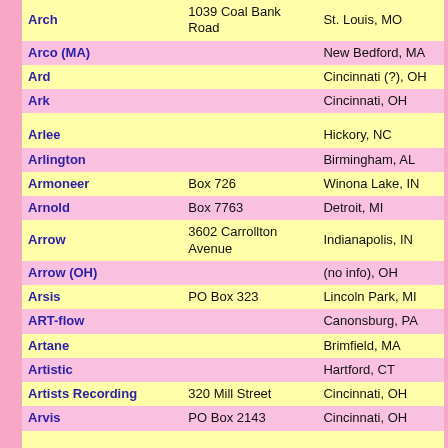| Name | Address | City/State |
| --- | --- | --- |
| Arch | 1039 Coal Bank Road | St. Louis, MO |
| Arco (MA) |  | New Bedford, MA |
| Ard |  | Cincinnati (?), OH |
| Ark |  | Cincinnati, OH |
| Arlee |  | Hickory, NC |
| Arlington |  | Birmingham, AL |
| Armoneer | Box 726 | Winona Lake, IN |
| Arnold | Box 7763 | Detroit, MI |
| Arrow | 3602 Carrollton Avenue | Indianapolis, IN |
| Arrow (OH) |  | (no info), OH |
| Arsis | PO Box 323 | Lincoln Park, MI |
| ART-flow |  | Canonsburg, PA |
| Artane |  | Brimfield, MA |
| Artistic |  | Hartford, CT |
| Artists Recording | 320 Mill Street | Cincinnati, OH |
| Arvis | PO Box 2143 | Cincinnati, OH |
| ASG | 3744 Applegate Ave. | Cincinnati, OH |
| ASR | PO Box 7 | Beloit, OH |
| Astral 7 | 1030 Brown St. | Dayton, OH |